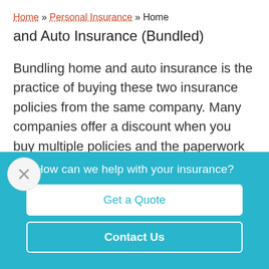Home » Personal Insurance » Home and Auto Insurance (Bundled)
Bundling home and auto insurance is the practice of buying these two insurance policies from the same company. Many companies offer a discount when you buy multiple policies and the paperwork can sometimes be easier this way. People often ask
How can we help with your insurance?
Get a Quote
Contact Us